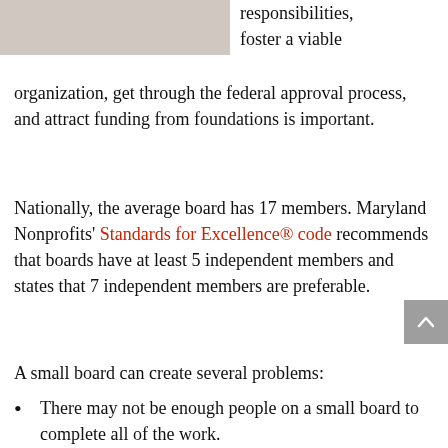[Figure (photo): Partial photo of a light-colored animal or fur texture at top left]
responsibilities, foster a viable organization, get through the federal approval process, and attract funding from foundations is important.
Nationally, the average board has 17 members. Maryland Nonprofits' Standards for Excellence® code recommends that boards have at least 5 independent members and states that 7 independent members are preferable.
A small board can create several problems:
There may not be enough people on a small board to complete all of the work.